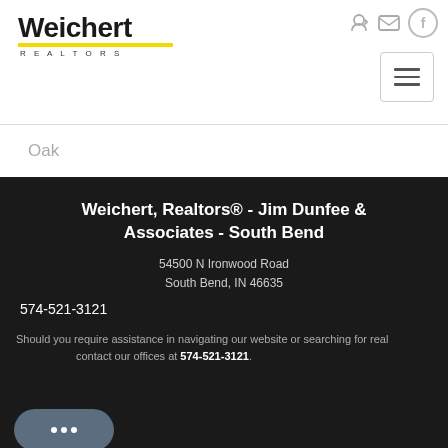[Figure (logo): Weichert Realtors logo with bold black text and yellow underline]
Oak
Weichert, Realtors® - Jim Dunfee & Associates - South Bend
54500 N Ironwood Road
South Bend, IN 46635
574-521-3121
Should you require assistance in navigating our website or searching for real contact our offices at 574-521-3121.